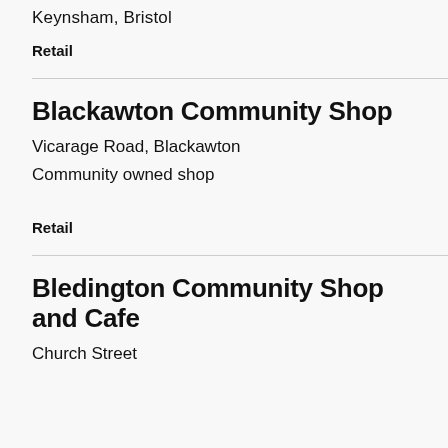Keynsham, Bristol
Retail
Blackawton Community Shop
Vicarage Road, Blackawton
Community owned shop
Retail
Bledington Community Shop and Cafe
Church Street